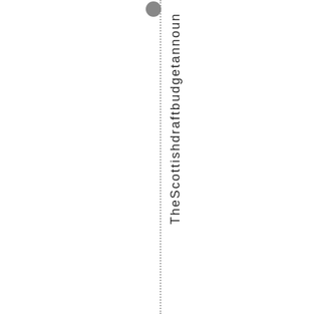[Figure (other): Circular icon/bullet point on a dotted vertical line]
The Scottish draft budget announ